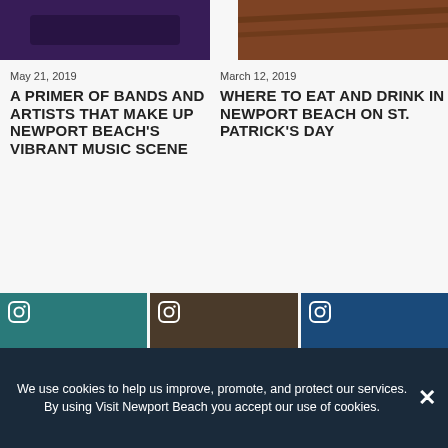[Figure (photo): Dark purple-toned photo, partially cropped at top (left column)]
[Figure (photo): Warm-toned photo with wooden elements, partially cropped at top (right column)]
May 21, 2019
A PRIMER OF BANDS AND ARTISTS THAT MAKE UP NEWPORT BEACH'S VIBRANT MUSIC SCENE
March 12, 2019
WHERE TO EAT AND DRINK IN NEWPORT BEACH ON ST. PATRICK'S DAY
[Figure (photo): Instagram thumbnail 1 - teal/green toned]
[Figure (photo): Instagram thumbnail 2 - brown/vintage toned crowd]
[Figure (photo): Instagram thumbnail 3 - blue sky toned]
We use cookies to help us improve, promote, and protect our services. By using Visit Newport Beach you accept our use of cookies.